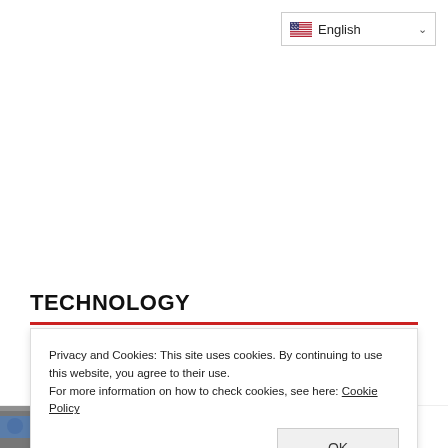English
TECHNOLOGY
Privacy and Cookies: This site uses cookies. By continuing to use this website, you agree to their use.
For more information on how to check cookies, see here: Cookie Policy
OK
Technology Week Starts